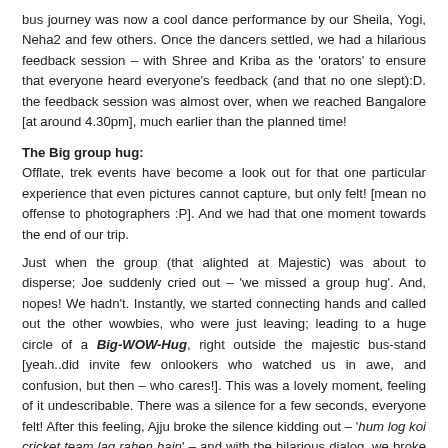bus journey was now a cool dance performance by our Sheila, Yogi, Neha2 and few others. Once the dancers settled, we had a hilarious feedback session – with Shree and Kriba as the 'orators' to ensure that everyone heard everyone's feedback (and that no one slept):D. the feedback session was almost over, when we reached Bangalore [at around 4.30pm], much earlier than the planned time!
The Big group hug:
Offlate, trek events have become a look out for that one particular experience that even pictures cannot capture, but only felt! [mean no offense to photographers :P]. And we had that one moment towards the end of our trip.
Just when the group (that alighted at Majestic) was about to disperse; Joe suddenly cried out – 'we missed a group hug'. And, nopes! We hadn't. Instantly, we started connecting hands and called out the other wowbies, who were just leaving; leading to a huge circle of a Big-WOW-Hug, right outside the majestic bus-stand [yeah..did invite few onlookers who watched us in awe, and confusion, but then – who cares!]. This was a lovely moment, feeling of it undescribable. There was a silence for a few seconds, everyone felt! After this feeling, Ajju broke the silence kidding out – 'hum log koi cricket team lag rahen hain' – and with the hilarious dialog, we broke the circle and walked towards the main Bus stand, to reach out to our home-sweet-home – Yayyy! We are One Year Younger now! WOW!! :) :)